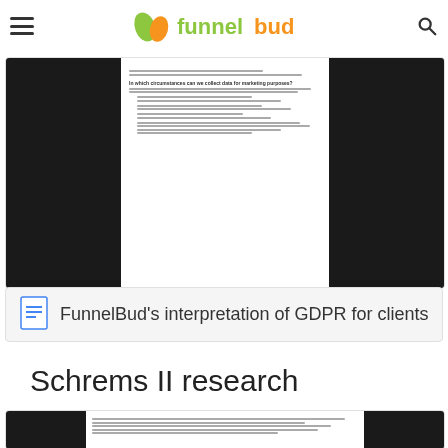funnelbud
[Figure (screenshot): Document preview of FunnelBud's interpretation of GDPR for clients — showing text about data collection for marketing purposes with bullet points, flanked by black sidebar panels]
FunnelBud's interpretation of GDPR for clients
Schrems II research
[Figure (screenshot): Document preview of Schrems II research document — showing introductory text, flanked by black sidebar panels]